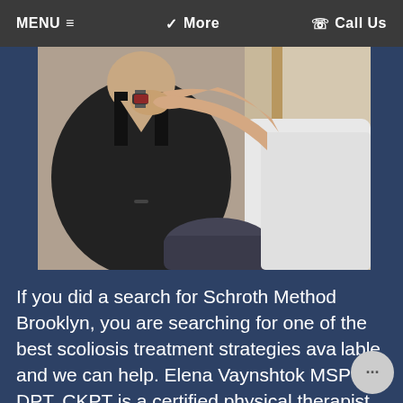MENU ≡   ❯ More   ☎ Call Us
[Figure (photo): A physical therapist in a white top examining a patient in a black top, touching or assessing the patient's neck/shoulder area. The therapist's arm is raised. Background shows a neutral room setting.]
If you did a search for Schroth Method Brooklyn, you are searching for one of the best scoliosis treatment strategies available and we can help. Elena Vaynshtok MSPT, DPT, CKPT is a certified physical therapist in